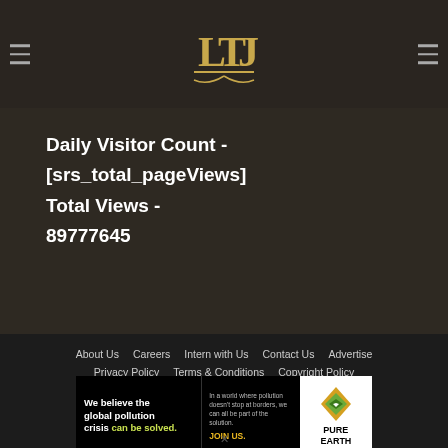[Figure (logo): Law Times Journal logo — stylized LTJ monogram with scales/book icon in gold on dark background, centered in header]
Daily Visitor Count -
[srs_total_pageViews]
Total Views -
89777645
About Us   Careers   Intern with Us   Contact Us   Advertise
Privacy Policy   Terms & Conditions   Copyright Policy
© 2014-2022 Law Times Journal | All Rights Reserved
[Figure (infographic): Pure Earth advertisement banner: black background with text 'We believe the global pollution crisis can be solved.' in white and green, small print about pollution not stopping at borders, JOIN US in yellow, and Pure Earth logo with diamond/chevron icon in gold/green on white background]